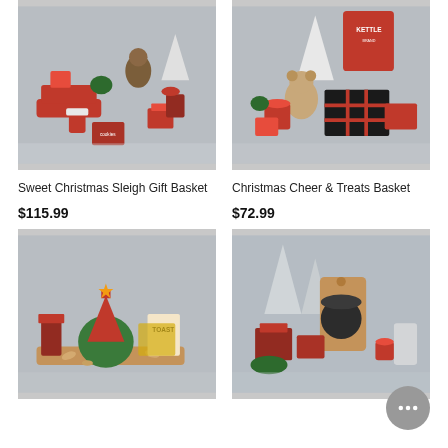[Figure (photo): Christmas gift basket with red sleigh, wrapped gifts, jam, cookies in festive packaging on gray background]
[Figure (photo): Christmas gift basket with Kettle chips, plaid box, teddy bear, red tin, wrapped gifts on gray background]
Sweet Christmas Sleigh Gift Basket
$115.99
Christmas Cheer & Treats Basket
$72.99
[Figure (photo): Christmas gift arrangement with red tree dish, crackers, Toast crackers, greenery ball, on wooden board]
[Figure (photo): Christmas gift set with silver tree, wooden cutting board, tea tin, red boxes, wrapped items on gray background]
[Figure (other): Chat/message bubble icon button in gray circle]